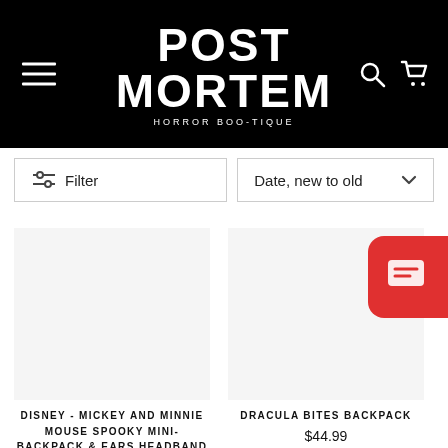[Figure (logo): Post Mortem Horror Boo-tique logo on black header with hamburger menu, search icon, and cart icon]
Filter
Date, new to old
DISNEY - MICKEY AND MINNIE MOUSE SPOOKY MINI-BACKPACK & EARS HEADBAND SET
DRACULA BITES BACKPACK
$44.99